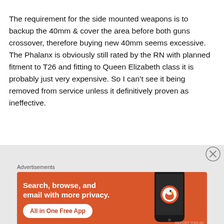The requirement for the side mounted weapons is to backup the 40mm & cover the area before both guns crossover, therefore buying new 40mm seems excessive. The Phalanx is obviously still rated by the RN with planned fitment to T26 and fitting to Queen Elizabeth class it is probably just very expensive. So I can't see it being removed from service unless it definitively proven as ineffective.
[Figure (other): Close/dismiss button (circle with X)]
Advertisements
[Figure (illustration): DuckDuckGo advertisement banner with orange background. Text: 'Search, browse, and email with more privacy.' and 'All in One Free App' button. Right side shows a smartphone with the DuckDuckGo duck logo and 'DuckDuckGo.' text.]